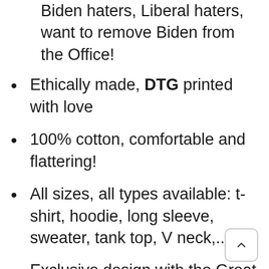Biden haters, Liberal haters, want to remove Biden from the Office!
Ethically made, DTG printed with love
100% cotton, comfortable and flattering!
All sizes, all types available: t-shirt, hoodie, long sleeve, sweater, tank top, V neck,...
Exclusive design with the Great Seal of the United States and the arty typo “Biden Is Not My … You Know The Thing”, which means “Biden Is Not My President” and it’s a fact,